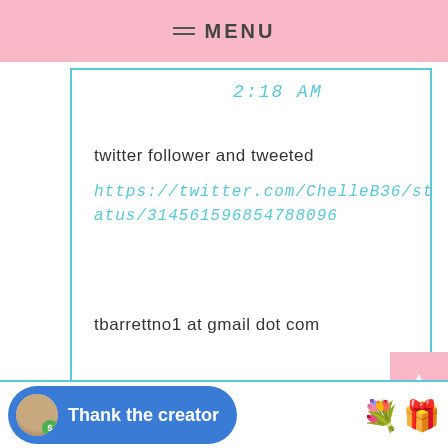MENU
2:18 AM
twitter follower and tweeted
https://twitter.com/ChelleB36/status/314561596854788096
tbarrettno1 at gmail dot com
Reply
Thank the creator